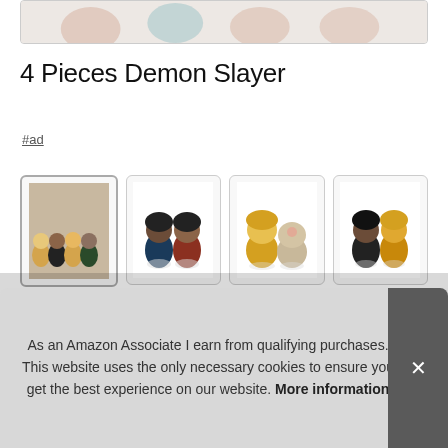[Figure (photo): Top portion of a product image showing chibi anime figures, partially cropped]
4 Pieces Demon Slayer
#ad
[Figure (photo): Four product thumbnail images showing Demon Slayer chibi anime figures in various groupings]
Popular... make... colle... airp... boys...
As an Amazon Associate I earn from qualifying purchases. This website uses the only necessary cookies to ensure you get the best experience on our website. More information